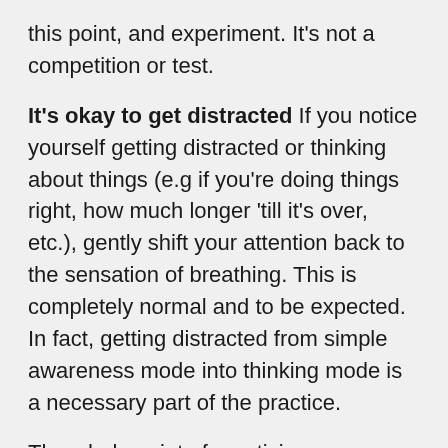this point, and experiment. It's not a competition or test.
It's okay to get distracted If you notice yourself getting distracted or thinking about things (e.g if you're doing things right, how much longer 'till it's over, etc.), gently shift your attention back to the sensation of breathing. This is completely normal and to be expected. In fact, getting distracted from simple awareness mode into thinking mode is a necessary part of the practice.
The whole point of practicing mindfulness is to A) notice when you've started thinking, and B) shift your attention back to the sensation of breathing. It's only when you've gotten distracted that you have the opportunity to work your